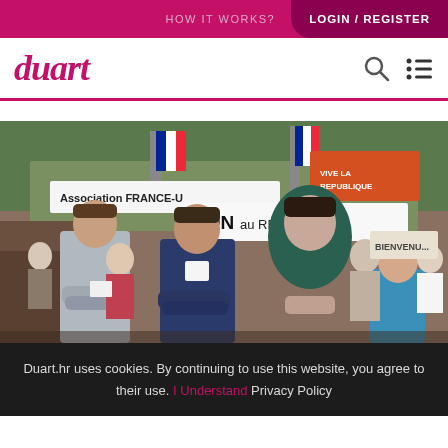HOW IT WORKS?   LOGIN / REGISTER
duart
[Figure (photo): Vintage colour photograph of a street scene, likely 1960s France. Several people stand in the foreground with arms crossed; banners in the background read 'Association FRANCE-U...' and 'NON au REFERENDUM'. French tricolour flags visible. A girl in a blue dress stands to the right.]
Duart.hr uses cookies. By continuing to use this website, you agree to their use. I Understand Privacy Policy